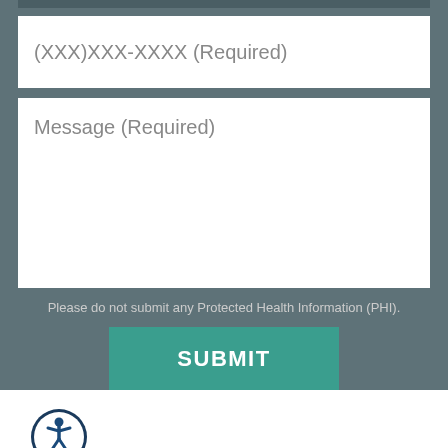(XXX)XXX-XXXX (Required)
Message (Required)
Please do not submit any Protected Health Information (PHI).
SUBMIT
[Figure (illustration): Accessibility icon: a circular blue badge with a white person figure in a universal accessibility pose]